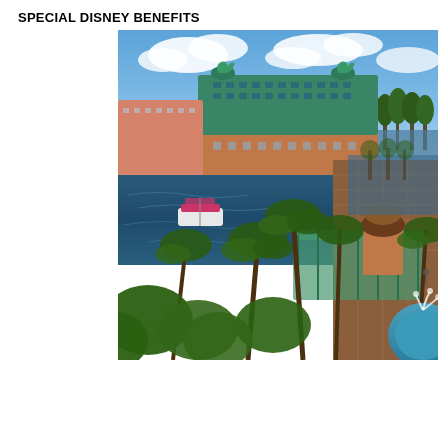SPECIAL DISNEY BENEFITS
[Figure (photo): Aerial view of a Disney resort hotel (Swan and Dolphin style) with teal/terracotta architecture and large swan sculptures on the roof, surrounded by a lagoon/lake with palm trees, a boat dock, a covered walkway, and a pool/fountain area in the foreground. Blue sky with clouds in the background.]